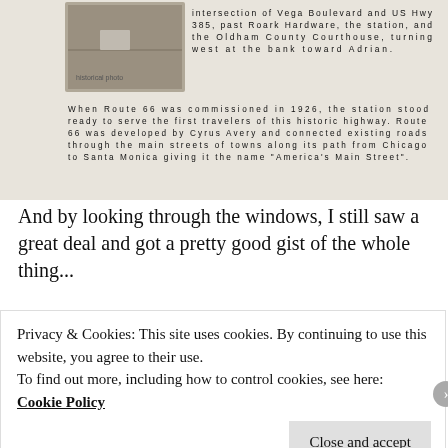[Figure (screenshot): Cropped image showing a scanned historical marker or placard text about Route 66 and a gas station, with a small historical photograph at upper left. Text describes the intersection of Vega Boulevard and US Hwy 385, Roark Hardware, the station, the Oldham County Courthouse, and Route 66's 1926 commissioning by Cyrus Avery.]
And by looking through the windows, I still saw a great deal and got a pretty good gist of the whole thing...
[Figure (photo): Two side-by-side interior photos showing windows and framed pictures on a tan wall inside a building.]
Privacy & Cookies: This site uses cookies. By continuing to use this website, you agree to their use.
To find out more, including how to control cookies, see here: Cookie Policy